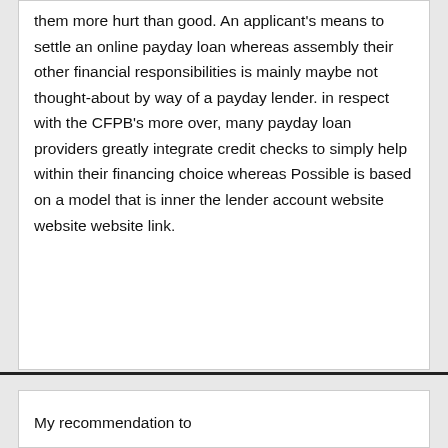them more hurt than good. An applicant’s means to settle an online payday loan whereas assembly their other financial responsibilities is mainly maybe not thought-about by way of a payday lender. in respect with the CFPB’s more over, many payday loan providers greatly integrate credit checks to simply help within their financing choice whereas Possible is based on a model that is inner the lender account website website website link.
My recommendation to